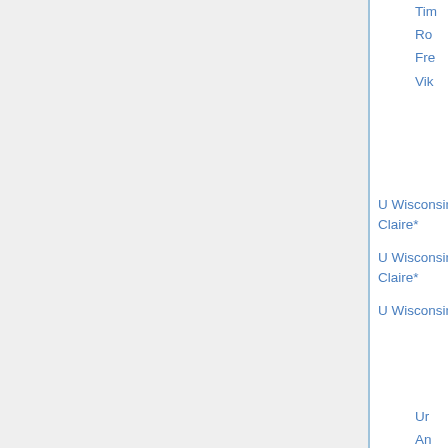| School | Type | Date |  |
| --- | --- | --- | --- |
| U Wisconsin, Eau Claire* | any (3)(t) | Nov 25 | ☐ |
| U Wisconsin, Eau Claire* | develop/remedial (u) | Nov 25 | ☐ |
| U Wisconsin, Madison* | any (u) | Nov 15 |  |
| U Wisconsin, Madison (Business)* | actuary (u) | Dec 1 |  |
Tim
Ro
Fre
Vik
Ur
An
Jo
Bla
Da
Er
Ca
Hil
Lil
Pie
Ch
Sm